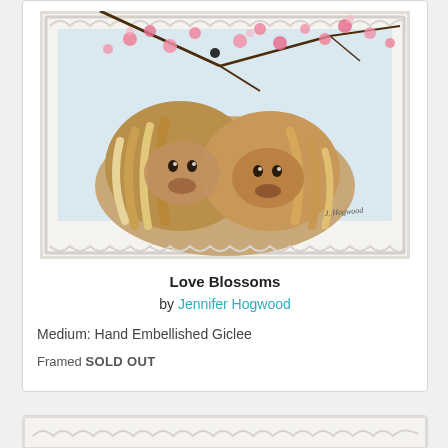[Figure (photo): Framed artwork showing two Highland cows with flowing mane hair under cherry blossom branches, in a white ornate frame. Painting titled 'Love Blossoms' by Jennifer Hogwood.]
Love Blossoms
by Jennifer Hogwood
Medium: Hand Embellished Giclee
Framed SOLD OUT
[Figure (photo): Partial view of a second framed artwork at the bottom of the page, showing the top of a white ornate frame.]